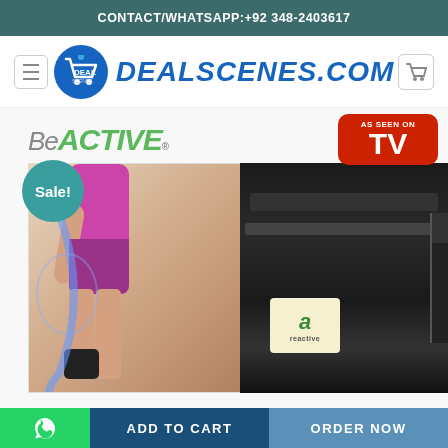CONTACT/WHATSAPP:+92 348-2403617
[Figure (logo): DealScenes.com logo with shopping cart icon in blue circle and italic blue text]
[Figure (photo): BeActive brace product page showing woman wearing leg brace and close-up of black brace device, with BeActive brand logo and 'As Seen On TV' badge, Sale! badge overlaid]
ADD TO CART
ORDER NOW